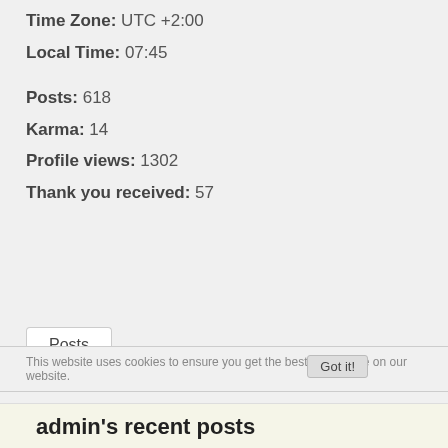Time Zone: UTC +2:00
Local Time: 07:45
Posts: 618
Karma: 14
Profile views: 1302
Thank you received: 57
Posts
This website uses cookies to ensure you get the best experience on our website.
admin's recent posts